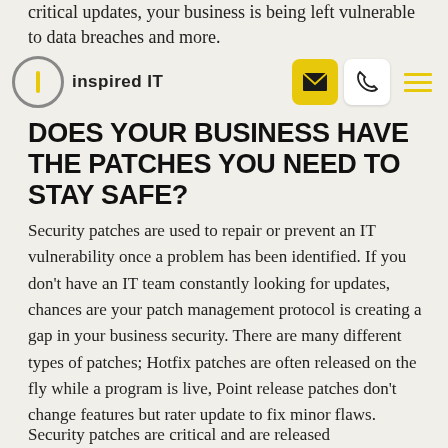critical updates, your business is being left vulnerable to data breaches and more.
inspired IT
DOES YOUR BUSINESS HAVE THE PATCHES YOU NEED TO STAY SAFE?
Security patches are used to repair or prevent an IT vulnerability once a problem has been identified. If you don't have an IT team constantly looking for updates, chances are your patch management protocol is creating a gap in your business security. There are many different types of patches; Hotfix patches are often released on the fly while a program is live, Point release patches don't change features but rater update to fix minor flaws.
Security patches are critical and are released